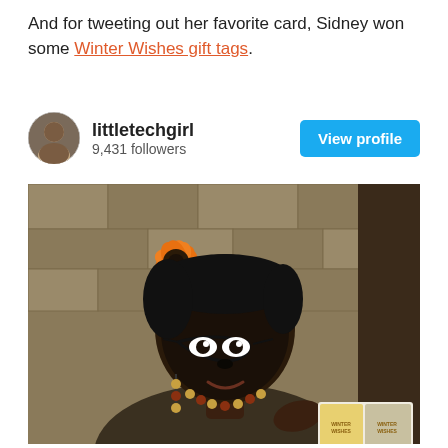And for tweeting out her favorite card, Sidney won some Winter Wishes gift tags.
[Figure (photo): Profile card for Twitter user 'littletechgirl' with 9,431 followers and a 'View profile' button, showing a circular avatar photo of a person]
[Figure (photo): Photo of a woman wearing glasses and a large orange flower in her hair, holding Winter Wishes gift tags, standing against a stone wall background]